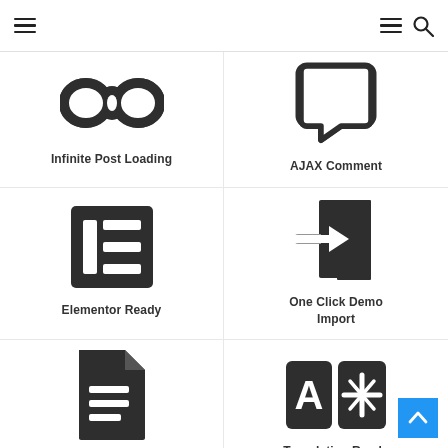Navigation header with hamburger menus and search icon
[Figure (illustration): Infinity symbol icon — Infinite Post Loading]
Infinite Post Loading
[Figure (illustration): Chat bubble icon — AJAX Comment]
AJAX Comment
[Figure (illustration): Elementor page builder icon — Elementor Ready]
Elementor Ready
[Figure (illustration): File with arrow icon — One Click Demo Import]
One Click Demo Import
[Figure (illustration): Document with lines icon — Well Documented]
Well Documented
[Figure (illustration): Translation A and character icon — Translation Ready]
Translation Ready